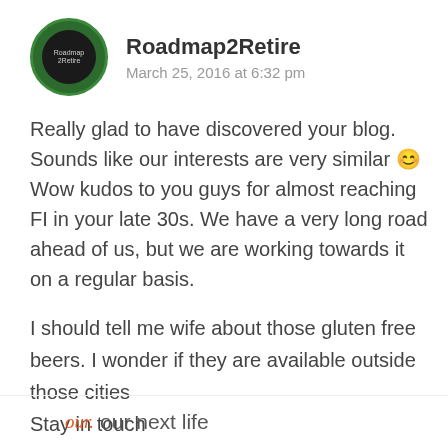Roadmap2Retire
March 25, 2016 at 6:32 pm
Really glad to have discovered your blog. Sounds like our interests are very similar 😊 Wow kudos to you guys for almost reaching FI in your late 30s. We have a very long road ahead of us, but we are working towards it on a regular basis.
I should tell me wife about those gluten free beers. I wonder if they are available outside those cities
Stay in touch
R2R
REPLY
our next life